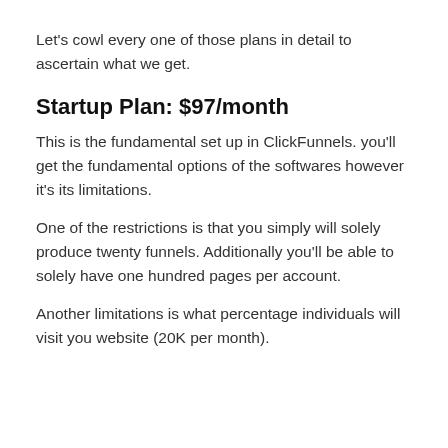Let's cowl every one of those plans in detail to ascertain what we get.
Startup Plan: $97/month
This is the fundamental set up in ClickFunnels. you'll get the fundamental options of the softwares however it's its limitations.
One of the restrictions is that you simply will solely produce twenty funnels. Additionally you'll be able to solely have one hundred pages per account.
Another limitations is what percentage individuals will visit you website (20K per month).